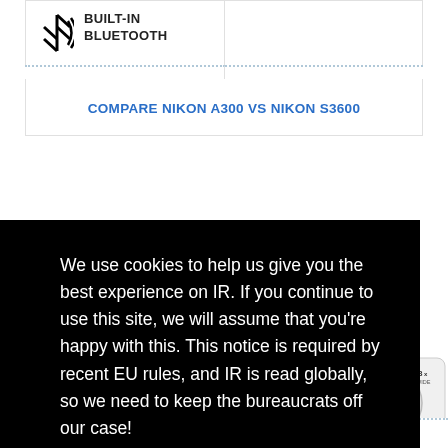[Figure (illustration): Bluetooth icon — a stylized B/asterisk symbol with wireless signal arcs, representing built-in Bluetooth feature]
BUILT-IN BLUETOOTH
COMPARE NIKON A300 vs NIKON S3600
We use cookies to help us give you the best experience on IR. If you continue to use this site, we will assume that you're happy with this. This notice is required by recent EU rules, and IR is read globally, so we need to keep the bureaucrats off our case!
Learn more
Got it!
[Figure (photo): Partial view of a compact digital camera (silver/white Nikon) showing the lens and zoom label '8x WIDE']